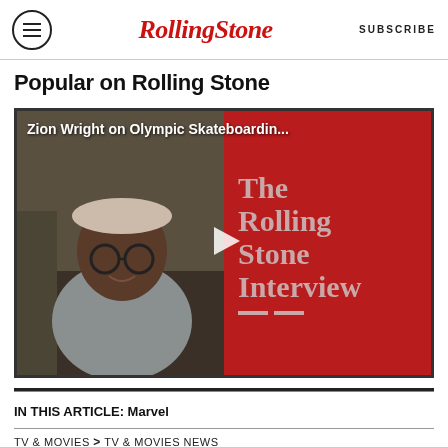Rolling Stone | SUBSCRIBE
Popular on Rolling Stone
[Figure (screenshot): Video thumbnail for 'Zion Wright on Olympic Skateboardin...' showing a man with glasses on the left half and The Rolling Stone Interview branding on a red background on the right half, with a play button in the center.]
IN THIS ARTICLE: Marvel
TV & MOVIES > TV & MOVIES NEWS